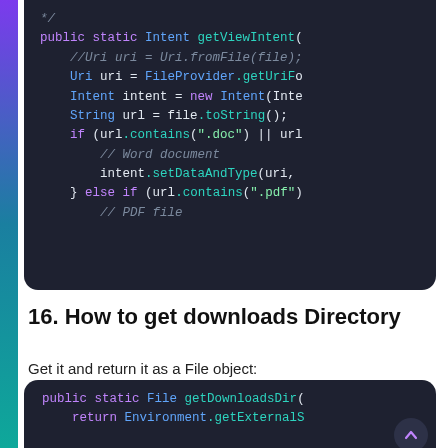[Figure (screenshot): Code block showing Java method getViewIntent with Uri, Intent, String url, if/else conditions for .doc and .pdf file types, on dark background (#1e2130). Code is syntax-highlighted with purple keywords, teal method calls, and gray comments.]
16. How to get downloads Directory
Get it and return it as a File object:
[Figure (screenshot): Code block showing Java method getDownloadsDir returning Environment.getExternalS..., on dark background. Partially visible with scroll-to-top button.]